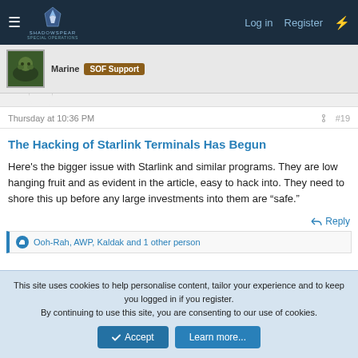ShadowSpear Special Operations — Log in | Register
Marine  SOF Support
Thursday at 10:36 PM  #19
The Hacking of Starlink Terminals Has Begun
Here's the bigger issue with Starlink and similar programs. They are low hanging fruit and as evident in the article, easy to hack into. They need to shore this up before any large investments into them are “safe.”
Reply
Ooh-Rah, AWP, Kaldak and 1 other person
This site uses cookies to help personalise content, tailor your experience and to keep you logged in if you register.
By continuing to use this site, you are consenting to our use of cookies.
Accept  Learn more...